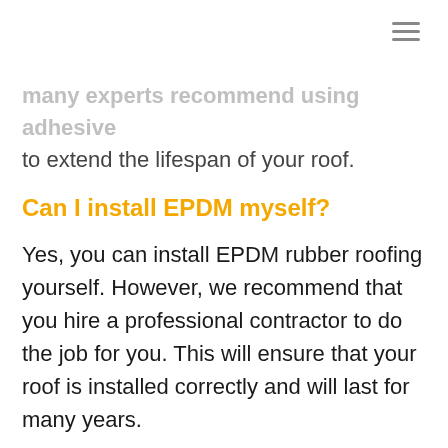many experts recommend using adhesive to extend the lifespan of your roof.
Can I install EPDM myself?
Yes, you can install EPDM rubber roofing yourself. However, we recommend that you hire a professional contractor to do the job for you. This will ensure that your roof is installed correctly and will last for many years.